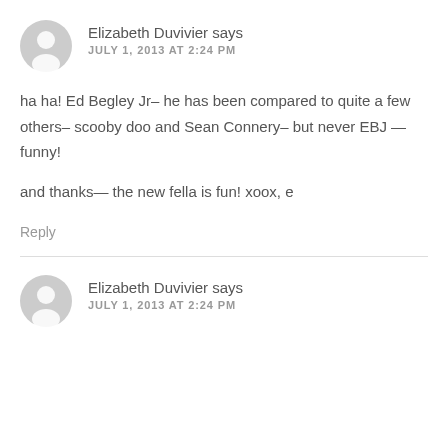[Figure (illustration): Gray default user avatar icon (circle with person silhouette), first comment]
Elizabeth Duvivier says
JULY 1, 2013 AT 2:24 PM
ha ha! Ed Begley Jr– he has been compared to quite a few others– scooby doo and Sean Connery– but never EBJ — funny!
and thanks— the new fella is fun! xoox, e
Reply
[Figure (illustration): Gray default user avatar icon (circle with person silhouette), second comment]
Elizabeth Duvivier says
JULY 1, 2013 AT 2:24 PM